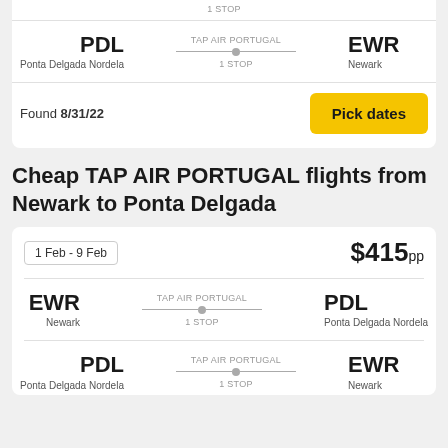1 STOP
PDL — Ponta Delgada Nordela → TAP AIR PORTUGAL 1 STOP → EWR — Newark
Found 8/31/22
Pick dates
Cheap TAP AIR PORTUGAL flights from Newark to Ponta Delgada
1 Feb - 9 Feb  $415pp
EWR — Newark → TAP AIR PORTUGAL 1 STOP → PDL — Ponta Delgada Nordela
PDL — Ponta Delgada Nordela → TAP AIR PORTUGAL 1 STOP → EWR — Newark